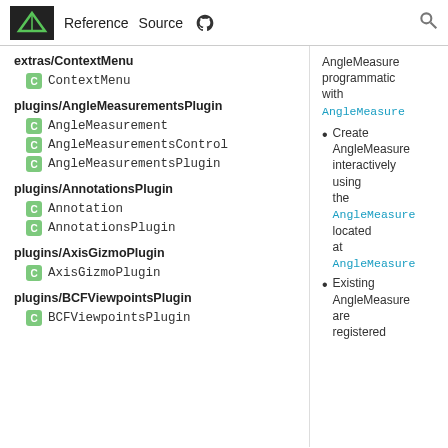Reference Source
extras/ContextMenu
C ContextMenu
plugins/AngleMeasurementsPlugin
C AngleMeasurement
C AngleMeasurementsControl
C AngleMeasurementsPlugin
plugins/AnnotationsPlugin
C Annotation
C AnnotationsPlugin
plugins/AxisGizmoPlugin
C AxisGizmoPlugin
plugins/BCFViewpointsPlugin
C BCFViewpointsPlugin
AngleMeasure programmatic with AngleMeasure
Create AngleMeasure interactively using the AngleMeasure located at AngleMeasure
Existing AngleMeasure are registered